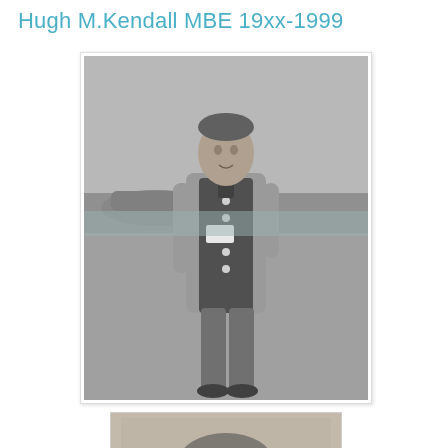Hugh M.Kendall MBE 19xx-1999
[Figure (photo): Black and white photograph of a young man standing outdoors, wearing a jacket over a naval uniform with buttons, with what appears to be an aircraft or boat in the background.]
[Figure (photo): Partially visible black and white photograph showing the top of a person's head.]